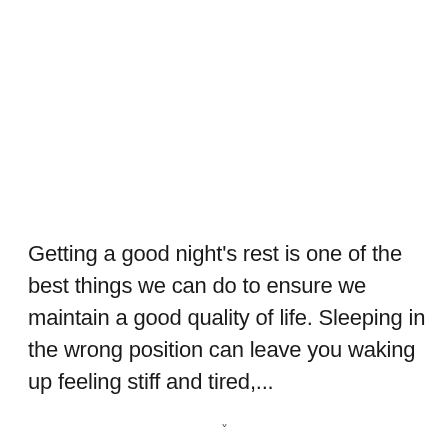Getting a good night's rest is one of the best things we can do to ensure we maintain a good quality of life. Sleeping in the wrong position can leave you waking up feeling stiff and tired,...
˅